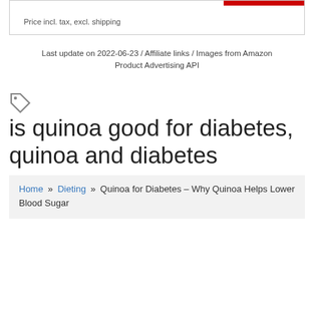Price incl. tax, excl. shipping
Last update on 2022-06-23 / Affiliate links / Images from Amazon Product Advertising API
is quinoa good for diabetes, quinoa and diabetes
Home » Dieting » Quinoa for Diabetes – Why Quinoa Helps Lower Blood Sugar